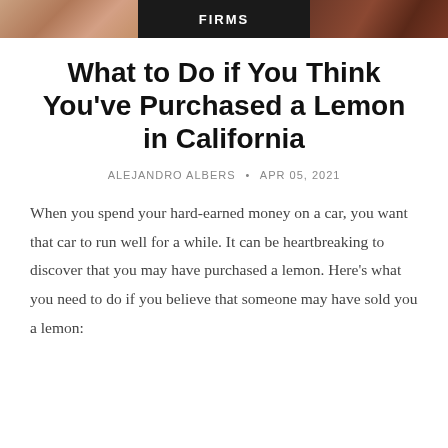FIRMS
What to Do if You Think You've Purchased a Lemon in California
ALEJANDRO ALBERS • APR 05, 2021
When you spend your hard-earned money on a car, you want that car to run well for a while. It can be heartbreaking to discover that you may have purchased a lemon. Here's what you need to do if you believe that someone may have sold you a lemon: